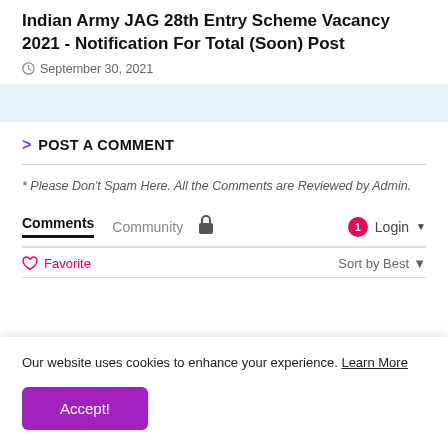Indian Army JAG 28th Entry Scheme Vacancy 2021 - Notification For Total (Soon) Post
September 30, 2021
> POST A COMMENT
* Please Don't Spam Here. All the Comments are Reviewed by Admin.
Comments  Community  🔒  1  Login ▾
♡ Favorite  Sort by Best ▾
Our website uses cookies to enhance your experience. Learn More
Accept!